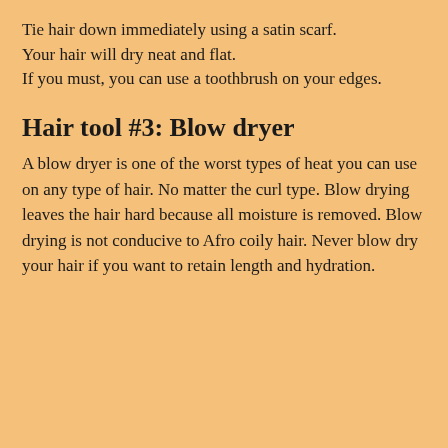Tie hair down immediately using a satin scarf. Your hair will dry neat and flat. If you must, you can use a toothbrush on your edges.
Hair tool #3: Blow dryer
A blow dryer is one of the worst types of heat you can use on any type of hair. No matter the curl type. Blow drying leaves the hair hard because all moisture is removed. Blow drying is not conducive to Afro coily hair. Never blow dry your hair if you want to retain length and hydration.